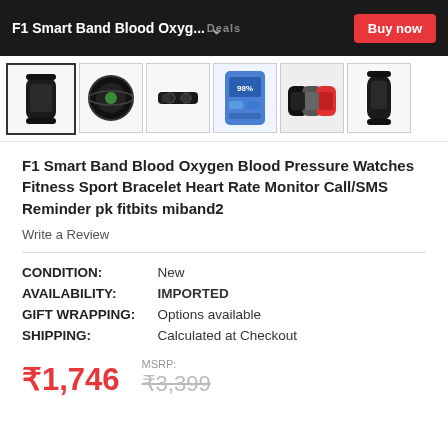F1 Smart Band Blood Oxyg... | Buy now
[Figure (photo): Row of 6 product thumbnail images of F1 Smart Band fitness tracker]
F1 Smart Band Blood Oxygen Blood Pressure Watches Fitness Sport Bracelet Heart Rate Monitor Call/SMS Reminder pk fitbits miband2
Write a Review
CONDITION:  New
AVAILABILITY:  IMPORTED
GIFT WRAPPING:  Options available
SHIPPING:  Calculated at Checkout
₹1,746   MSRP: ₹3,399